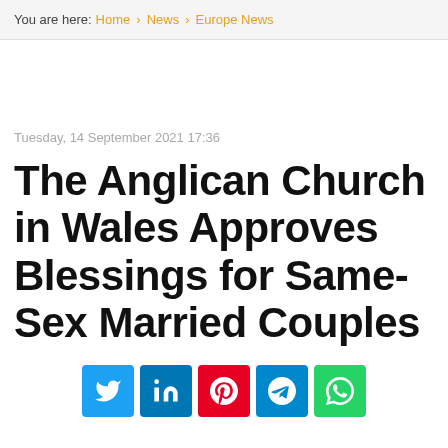You are here: Home > News > Europe News
Tuesday, 14 September 2021 17:36
The Anglican Church in Wales Approves Blessings for Same-Sex Married Couples
[Figure (other): Social share buttons: Twitter, LinkedIn, Pinterest, Telegram, WhatsApp]